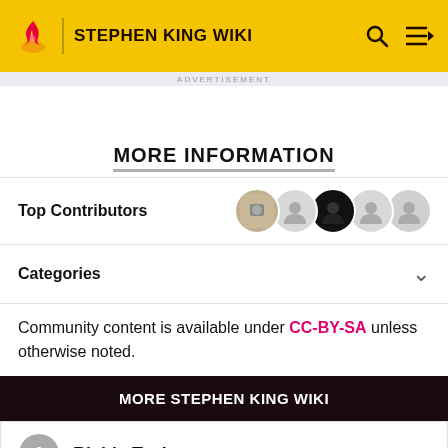STEPHEN KING WIKI
ADVERTISEMENT
MORE INFORMATION
Top Contributors
Categories
Community content is available under CC-BY-SA unless otherwise noted.
MORE STEPHEN KING WIKI
1 Richie Tozier